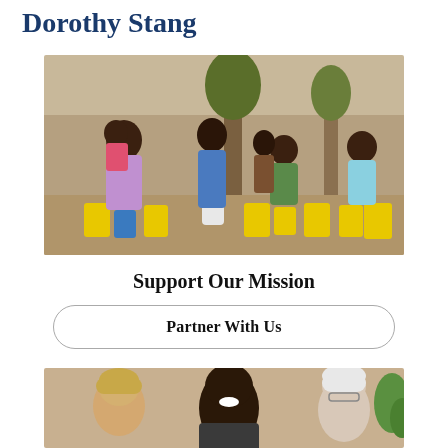Dorothy Stang
[Figure (photo): People filling yellow jerry cans with water at an outdoor water point, with trees and buildings in the background. A woman holds a small child while others bend down to fill containers.]
Support Our Mission
Partner With Us
[Figure (photo): Three smiling people posing together indoors — a younger light-haired person on the left, a dark-skinned man in the center, and an older white-haired woman on the right.]